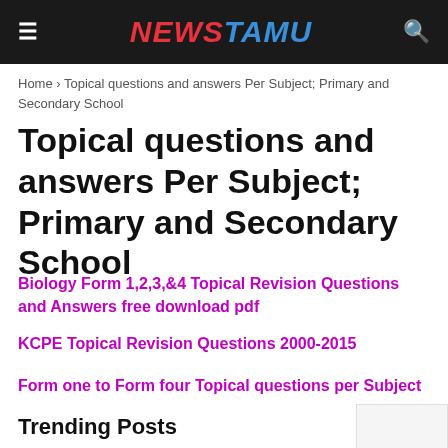NEWSTAMU
Home › Topical questions and answers Per Subject; Primary and Secondary School
Topical questions and answers Per Subject; Primary and Secondary School
Biology Form 1,2,3,&4 Topical Revision Questions and Answers free download pdf
KCPE Topical Revision Questions 2000-2015
Form one to Form four Topical questions per Subject
Trending Posts